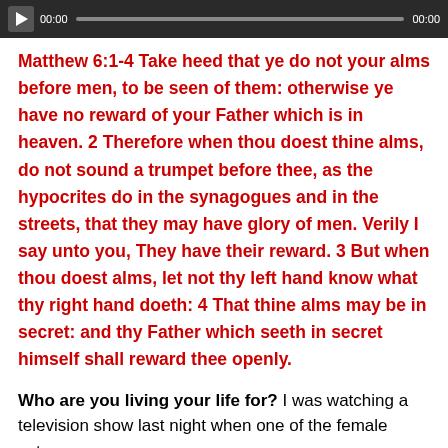[Figure (other): Audio player bar with play button, time display 00:00, progress bar, and end time 00:00 on dark background]
Matthew 6:1-4 Take heed that ye do not your alms before men, to be seen of them: otherwise ye have no reward of your Father which is in heaven. 2 Therefore when thou doest thine alms, do not sound a trumpet before thee, as the hypocrites do in the synagogues and in the streets, that they may have glory of men. Verily I say unto you, They have their reward. 3 But when thou doest alms, let not thy left hand know what thy right hand doeth: 4 That thine alms may be in secret: and thy Father which seeth in secret himself shall reward thee openly.
Who are you living your life for? I was watching a television show last night when one of the female actors